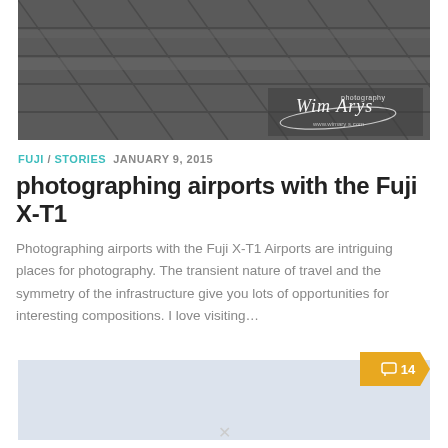[Figure (photo): Black and white photo of airport floor tiles/pavement with Wim Arys photography watermark logo in bottom right corner]
FUJI / STORIES  JANUARY 9, 2015
photographing airports with the Fuji X-T1
Photographing airports with the Fuji X-T1 Airports are intriguing places for photography. The transient nature of travel and the symmetry of the infrastructure give you lots of opportunities for interesting compositions. I love visiting...
[Figure (other): Light blue-gray card/thumbnail placeholder with an orange comment badge showing 14 comments]